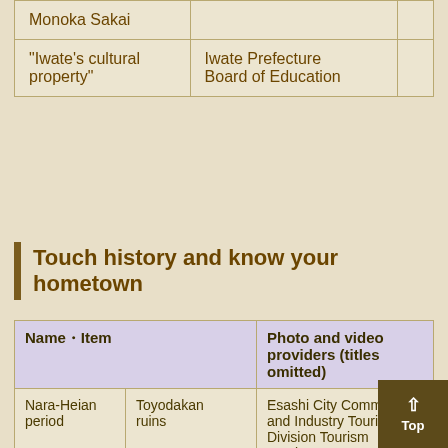| Name / Item | Photo and video providers (titles omitted) |
| --- | --- |
| Monoka Sakai |  |  |
| "Iwate's cultural property" | Iwate Prefecture Board of Education |  |
Touch history and know your hometown
| Name | Item | Photo and video providers (titles omitted) |
| --- | --- | --- |
| Nara-Heian period | Toyodakan ruins | Esashi City Commerce and Industry Tourism Division Tourism Section |
|  | Yoshitsune | Hiraizumi Town To... |